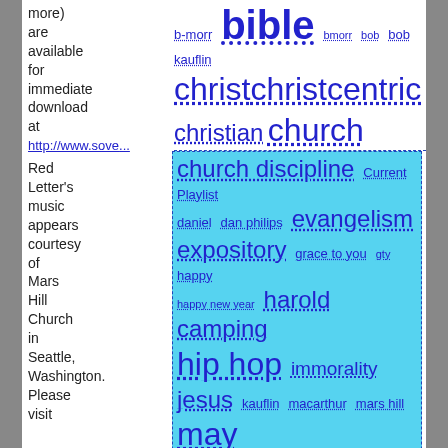more) are available for immediate download at http://www.sove... Red Letter's music appears courtesy of Mars Hill Church in Seattle, Washington. Please visit
[Figure (infographic): Tag cloud with two-tone background (white top, light blue bottom). Tags include: b-morr, bible, bmorr, bob, bob kauflin, christ, christcentric, christian, church, church discipline, Current Playlist, daniel, dan philips, evangelism, expository, grace to you, gty, happy, happy new year, harold camping, hip hop, immorality, jesus, kauflin, macarthur, mars hill, may 21, new pastor way, pastorway, Preaching, rap, rapture, red letter, resolution, resolve, scripture, seattle, sgm, sovereign grace music, tbc, tcdc, theologically correct dot com, theology, year]
Pages
About LDM